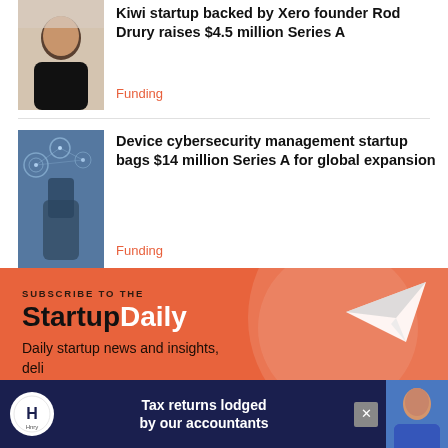[Figure (photo): Portrait photo of a man in a black shirt]
Kiwi startup backed by Xero founder Rod Drury raises $4.5 million Series A
Funding
[Figure (photo): Technology/cybersecurity themed image showing hands holding a phone with digital icons]
Device cybersecurity management startup bags $14 million Series A for global expansion
Funding
[Figure (infographic): Subscribe to the StartupDaily newsletter banner with orange background and paper plane graphic]
[Figure (infographic): Advertisement banner: Tax returns lodged by our accountants - Hnry]